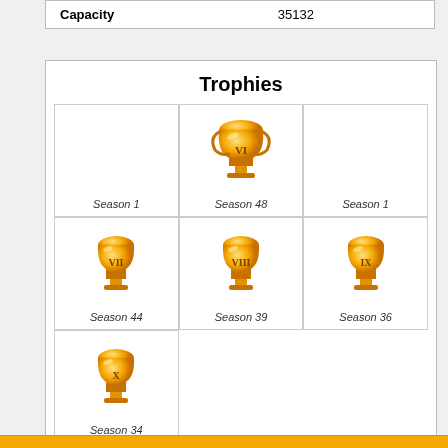| Capacity | 35132 |
| --- | --- |
Trophies
[Figure (illustration): Grid of 7 trophy icons with season labels: empty (Season 1), gold large trophy (Season 48), empty (Season 1), gold cup trophy VII (Season 44), gold cup trophy VIII (Season 39), gold cup trophy IX (Season 36), gold cup trophy X (Season 34)]